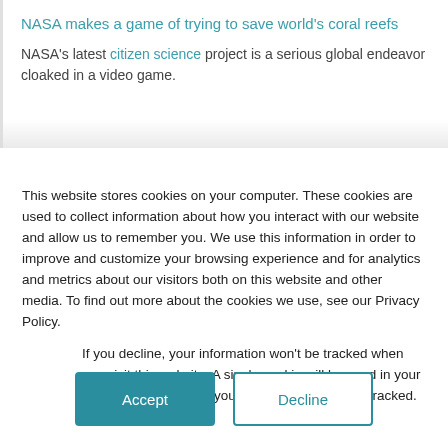NASA makes a game of trying to save world's coral reefs
NASA's latest citizen science project is a serious global endeavor cloaked in a video game.
This website stores cookies on your computer. These cookies are used to collect information about how you interact with our website and allow us to remember you. We use this information in order to improve and customize your browsing experience and for analytics and metrics about our visitors both on this website and other media. To find out more about the cookies we use, see our Privacy Policy.
If you decline, your information won't be tracked when you visit this website. A single cookie will be used in your browser to remember your preference not to be tracked.